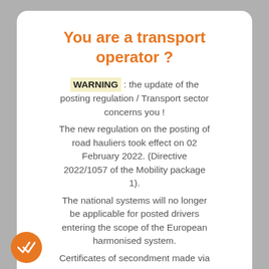You are a transport operator ?
WARNING : the update of the posting regulation / Transport sector concerns you ! The new regulation on the posting of road hauliers took effect on 02 February 2022. (Directive 2022/1057 of the Mobility package 1). The national systems will no longer be applicable for posted drivers entering the scope of the European harmonised system. Certificates of secondment made via